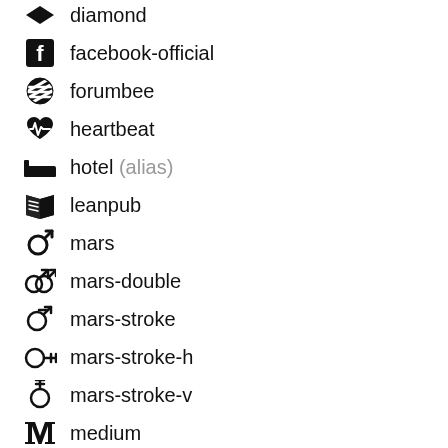diamond
facebook-official
forumbee
heartbeat
hotel (alias)
leanpub
mars
mars-double
mars-stroke
mars-stroke-h
mars-stroke-v
medium
mercury
motorcycle